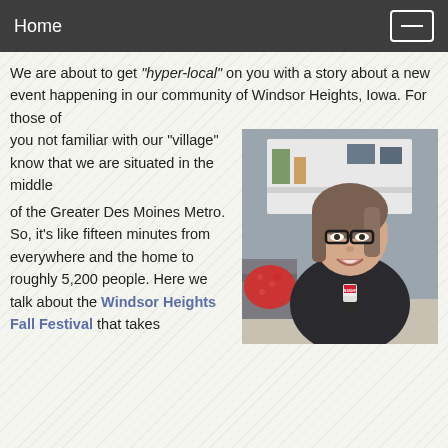Home
We are about to get "hyper-local" on you with a story about a new event happening in our community of Windsor Heights, Iowa. For those of you not familiar with our "village" know that we are situated in the middle of the Greater Des Moines Metro. So, it's like fifteen minutes from everywhere and the home to roughly 5,200 people. Here we talk about the Windsor Heights Fall Festival that takes
[Figure (photo): A smiling woman with glasses and shoulder-length brown hair, wearing a dark sweater, seated in an office/home setting with bookshelves behind her, holding a microphone labeled with a news logo.]